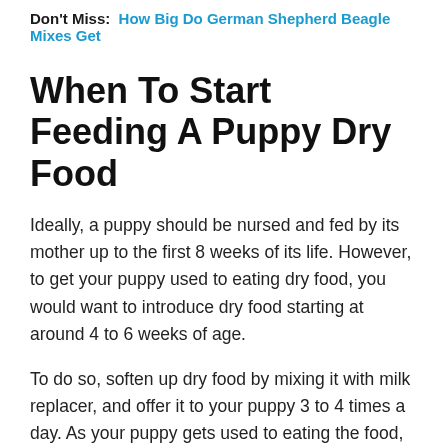Don't Miss: How Big Do German Shepherd Beagle Mixes Get
When To Start Feeding A Puppy Dry Food
Ideally, a puppy should be nursed and fed by its mother up to the first 8 weeks of its life. However, to get your puppy used to eating dry food, you would want to introduce dry food starting at around 4 to 6 weeks of age.
To do so, soften up dry food by mixing it with milk replacer, and offer it to your puppy 3 to 4 times a day. As your puppy gets used to eating the food, gradually decrease the amount of milk replacer until the puppy eventually adapts to eating solid food.
Your puppy should get used to eating dry and solid food by